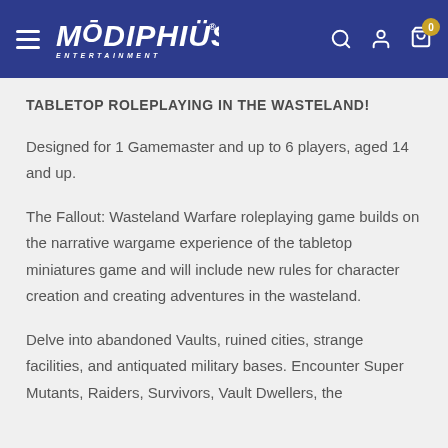Modiphius Entertainment
TABLETOP ROLEPLAYING IN THE WASTELAND!
Designed for 1 Gamemaster and up to 6 players, aged 14 and up.
The Fallout: Wasteland Warfare roleplaying game builds on the narrative wargame experience of the tabletop miniatures game and will include new rules for character creation and creating adventures in the wasteland.
Delve into abandoned Vaults, ruined cities, strange facilities, and antiquated military bases. Encounter Super Mutants, Raiders, Survivors, Vault Dwellers, the